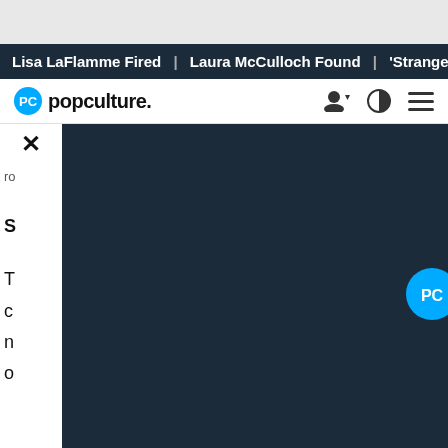Lisa LaFlamme Fired | Laura McCulloch Found | 'Strange Adv...
[Figure (logo): Popculture.com website navigation bar with PC logo, popculture. wordmark, and nav icons]
[Figure (screenshot): Video player overlay showing popculture. logo with play button on dark navy background, with close X button and partial article text visible behind]
gone through a major transformation with "mind, body, and soul" through his martial arts practices. Other clues that could be seen in his package included a slippery road sign